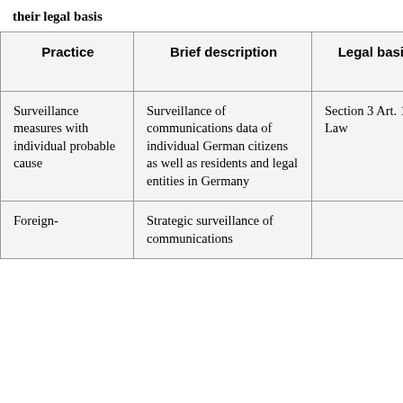their legal basis
| Practice | Brief description | Legal basis | Review body |
| --- | --- | --- | --- |
| Surveillance measures with individual probable cause | Surveillance of communications data of individual German citizens as well as residents and legal entities in Germany | Section 3 Art. 10 Law | G 10 Comm... |
| Foreign- | Strategic surveillance of communications |  |  |